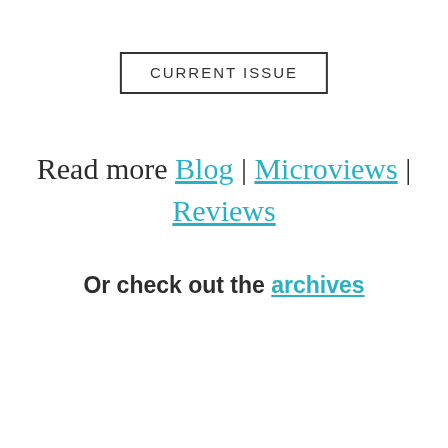CURRENT ISSUE
Read more Blog | Microviews | Reviews
Or check out the archives